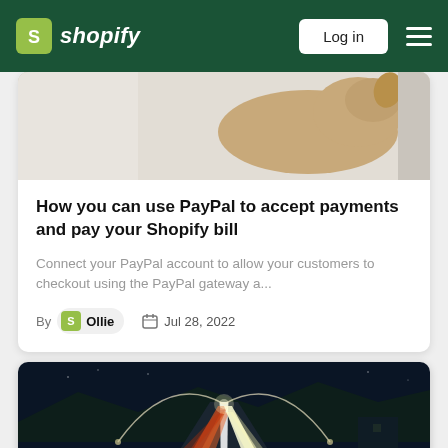Shopify — Log in
[Figure (photo): Partial view of a golden/tan dog or cat against a light background (cropped top of card)]
How you can use PayPal to accept payments and pay your Shopify bill
Connect your PayPal account to allow your customers to checkout using the PayPal gateway a...
By Ollie  Jul 28, 2022
[Figure (photo): Night highway with light trails from car headlights and taillights, overhead arc street lamps visible]